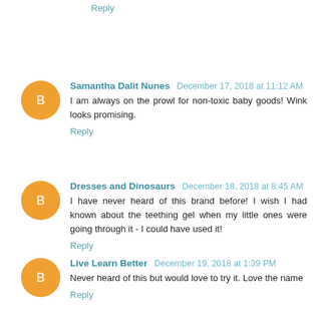Reply
Samantha Dalit Nunes  December 17, 2018 at 11:12 AM
I am always on the prowl for non-toxic baby goods! Wink looks promising.
Reply
Dresses and Dinosaurs  December 18, 2018 at 8:45 AM
I have never heard of this brand before! I wish I had known about the teething gel when my little ones were going through it - I could have used it!
Reply
Live Learn Better  December 19, 2018 at 1:39 PM
Never heard of this but would love to try it. Love the name
Reply